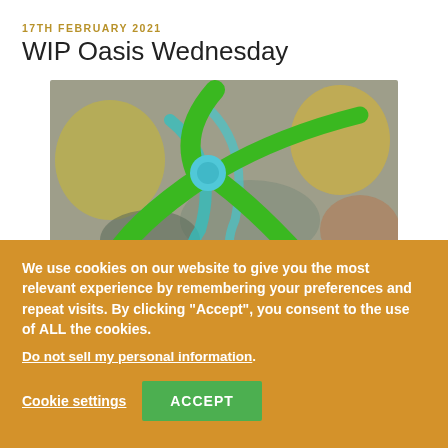17TH FEBRUARY 2021
WIP Oasis Wednesday
[Figure (photo): A blurred workshop or lab setting with a prominent green plier/tool logo overlay, cyan and yellow robotic or mechanical elements in the background.]
We use cookies on our website to give you the most relevant experience by remembering your preferences and repeat visits. By clicking "Accept", you consent to the use of ALL the cookies.
Do not sell my personal information.
Cookie settings
ACCEPT